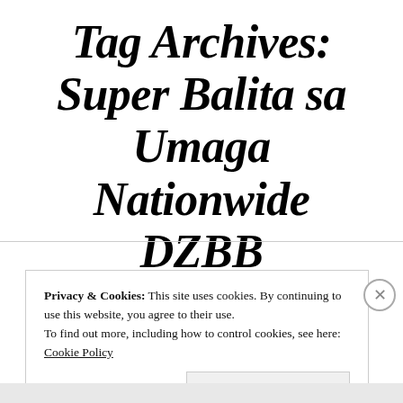Tag Archives: Super Balita sa Umaga Nationwide DZBB
Privacy & Cookies: This site uses cookies. By continuing to use this website, you agree to their use. To find out more, including how to control cookies, see here: Cookie Policy
Close and accept